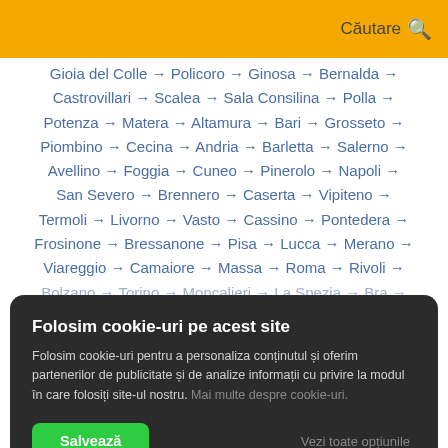Căutare
Gioia del Colle → Policoro → Ginosa → Bernalda → Castrovillari → Scalea → Sala Consilina → Polla → Potenza → Matera → Altamura → Bari → Grosseto → Piombino → Cecina → Andria → Barletta → Salerno → Avellino → Foggia → Cuneo → Pinerolo → Napoli → San Severo → Brennero → Caserta → Vipiteno → Termoli → Livorno → Vasto → Cassino → Pontedera → Frosinone → Bressanone → Pisa → Lucca → Merano → Viareggio → Camaiore → Massa → Roma → Rivoli → Bolzano → Torino → Moncalieri → La Spezia → Bra →
Folosim cookie-uri pe acest site
Folsim cookie-uri pentru a personaliza conținutul și oferim partenerilor de publicitate și de analize informații cu privire la modul în care folosiți site-ul nostru. Mai multe despre cookie-uri.
Monza → Bergamo → Calenzano → Prato →